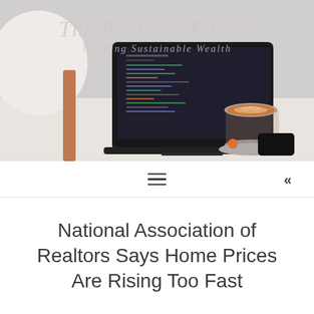[Figure (photo): Hero image showing a laptop with dark code editor on screen, a latte coffee in a glass cup on a saucer, and a smartphone on a white desk. A white lamp or chair is partially visible on the left. Overlaid with a watermark reading 'The Fearless Factor' and 'Building Sustainable Wealth'.]
≡  «
National Association of Realtors Says Home Prices Are Rising Too Fast